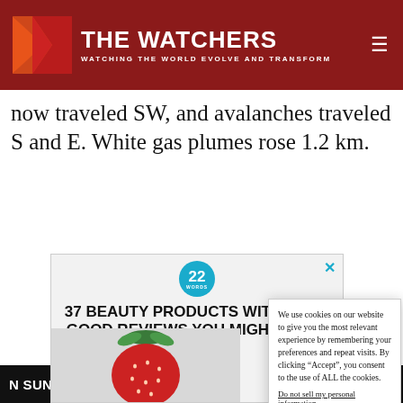THE WATCHERS — WATCHING THE WORLD EVOLVE AND TRANSFORM
now traveled SW, and avalanches traveled S and E. White gas plumes rose 1.2 km.
[Figure (other): Advertisement banner: '22 Words' logo circle with text '37 BEAUTY PRODUCTS WITH SUCH GOOD REVIEWS YOU MIGHT WANT TO' and a strawberry photo]
We use cookies on our website to give you the most relevant experience by remembering your preferences and repeat visits. By clicking “Accept”, you consent to the use of ALL the cookies.
Do not sell my personal information.
Cookie settings   Accept
N SUNDAY, AUGUST 28, 2022 AT 16:19 UTC